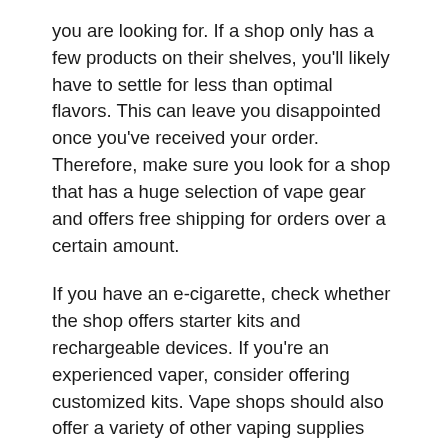you are looking for. If a shop only has a few products on their shelves, you'll likely have to settle for less than optimal flavors. This can leave you disappointed once you've received your order. Therefore, make sure you look for a shop that has a huge selection of vape gear and offers free shipping for orders over a certain amount.
If you have an e-cigarette, check whether the shop offers starter kits and rechargeable devices. If you're an experienced vaper, consider offering customized kits. Vape shops should also offer a variety of other vaping supplies such as batteries, mods, and vape liquid. And remember to keep your inventory in order to avoid shortages of any of these essential items. If you're considering opening a vape shop, be sure to ask about the products you sell, and pick the one that offers the best variety.